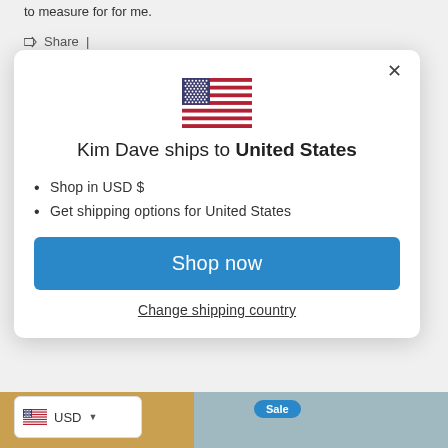to measure for for me.
Share |
[Figure (screenshot): Modal dialog showing US flag, text 'Kim Dave ships to United States', bullet points 'Shop in USD $' and 'Get shipping options for United States', a blue 'Shop now' button, a 'Change shipping country' link, and a USD currency selector at the bottom left.]